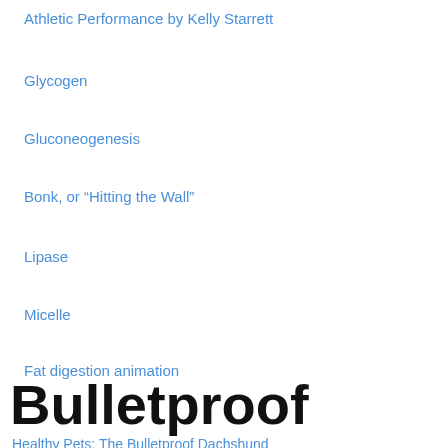Athletic Performance by Kelly Starrett
Glycogen
Gluconeogenesis
Bonk, or “Hitting the Wall”
Lipase
Micelle
Fat digestion animation
Bulletproof
Healthy Pets: The Bulletproof Dachshund